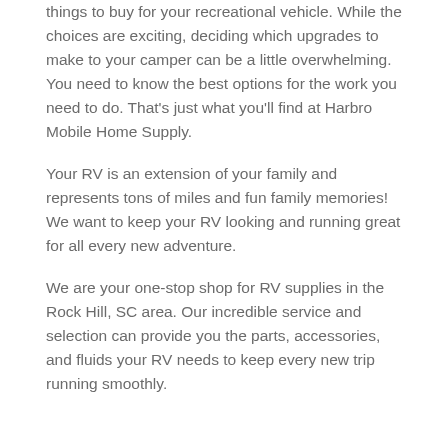things to buy for your recreational vehicle. While the choices are exciting, deciding which upgrades to make to your camper can be a little overwhelming. You need to know the best options for the work you need to do. That's just what you'll find at Harbro Mobile Home Supply.
Your RV is an extension of your family and represents tons of miles and fun family memories! We want to keep your RV looking and running great for all every new adventure.
We are your one-stop shop for RV supplies in the Rock Hill, SC area. Our incredible service and selection can provide you the parts, accessories, and fluids your RV needs to keep every new trip running smoothly.